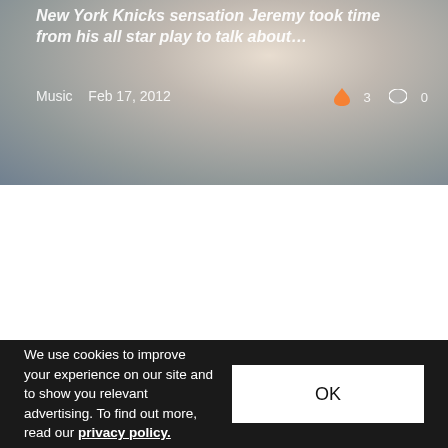[Figure (photo): Partial view of a person in a New York Knicks jersey, cropped at head/shoulder, with overlaid article title and metadata. Music category, dated Feb 17, 2012, with fire icon and comment count 0.]
[Figure (photo): Album cover or promotional image for Colin Munroe 'Fight of My Life' showing dirt or sand art pattern on a white cloth surface. Text overlaid: COLIN MUNROE and album title.]
We use cookies to improve your experience on our site and to show you relevant advertising. To find out more, read our privacy policy.